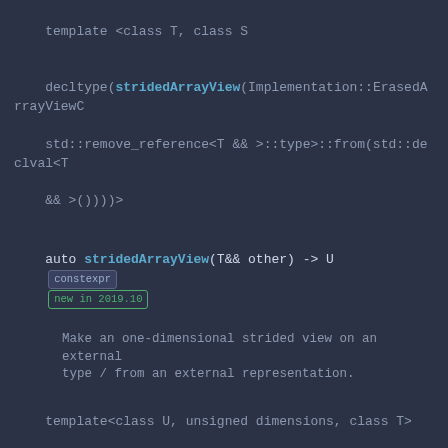template <class T, class S
decltype(stridedArrayView(Implementation::ErasedArrayViewC std::remove_reference<T && >::type>::from(std::declval<T &&>())))>
auto stridedArrayView(T&& other) -> U  constexpr  new in 2019.10
Make an one-dimensional strided view on an external type / from an external representation.
template<class U, unsigned dimensions, class T>
auto arrayCast(
    const StridedArrayView<dimensions, T>& view) ->
    StridedArrayView<dimensions, U>
Reinterpret-cast a strided array view.
template<class U, unsigned dimensions>
auto arrayCast(
    const StridedArrayView<dimensions, const void>& view) ->
    StridedArrayView<dimensions, U>  new in 2020.06
Reinterpret-cast a void strided array view.
template<class U, unsigned dimensions>
auto arrayCast(
    const StridedArrayView<dimensions, void>& view) ->
    StridedArrayView<dimensions, U>  new in 2020.06
template<unsigned newDimensions, class U>